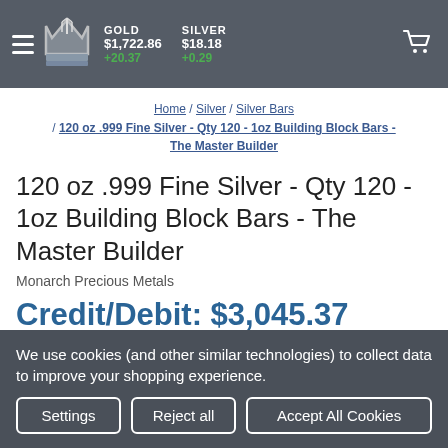GOLD $1,722.86 +20.37 | SILVER $18.18 +0.29
Home / Silver / Silver Bars / 120 oz .999 Fine Silver - Qty 120 - 1oz Building Block Bars - The Master Builder
120 oz .999 Fine Silver - Qty 120 - 1oz Building Block Bars - The Master Builder
Monarch Precious Metals
Credit/Debit: $3,045.37
Check/Wire: $2923.56
We use cookies (and other similar technologies) to collect data to improve your shopping experience.